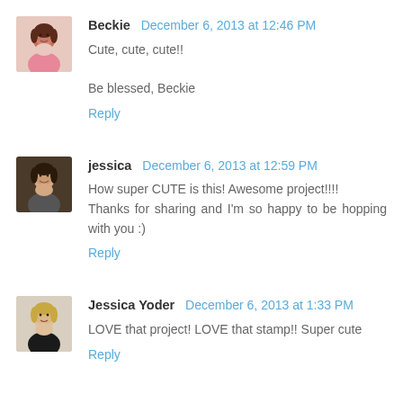Beckie — December 6, 2013 at 12:46 PM
Cute, cute, cute!!
Be blessed, Beckie
Reply
jessica — December 6, 2013 at 12:59 PM
How super CUTE is this! Awesome project!!!!
Thanks for sharing and I'm so happy to be hopping with you :)
Reply
Jessica Yoder — December 6, 2013 at 1:33 PM
LOVE that project! LOVE that stamp!! Super cute
Reply